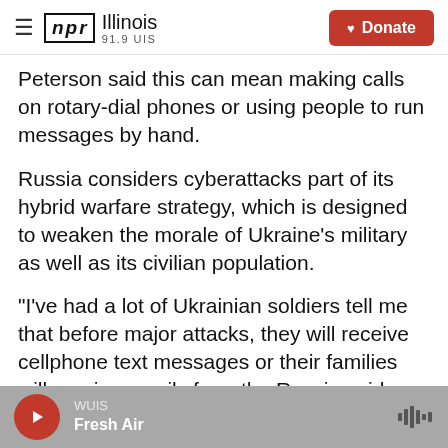NPR Illinois 91.9 UIS | Donate
Peterson said this can mean making calls on rotary-dial phones or using people to run messages by hand.
Russia considers cyberattacks part of its hybrid warfare strategy, which is designed to weaken the morale of Ukraine's military as well as its civilian population.
"I've had a lot of Ukrainian soldiers tell me that before major attacks, they will receive cellphone text messages or their families will receive emails from the Russian side, threatening them, telling them that they're all going to die and things like
WUIS | Fresh Air